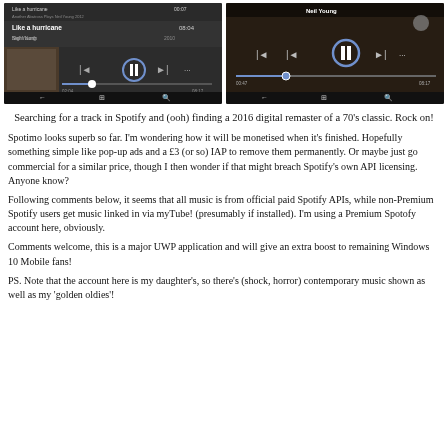[Figure (screenshot): Two side-by-side screenshots of Spotimo app on Windows Mobile showing 'Like a hurricane' by Neil Young playing, with playback controls and progress bar.]
Searching for a track in Spotify and (ooh) finding a 2016 digital remaster of a 70's classic. Rock on!
Spotimo looks superb so far. I'm wondering how it will be monetised when it's finished. Hopefully something simple like pop-up ads and a £3 (or so) IAP to remove them permanently. Or maybe just go commercial for a similar price, though I then wonder if that might breach Spotify's own API licensing. Anyone know?
Following comments below, it seems that all music is from official paid Spotify APIs, while non-Premium Spotify users get music linked in via myTube! (presumably if installed). I'm using a Premium Spotofy account here, obviously.
Comments welcome, this is a major UWP application and will give an extra boost to remaining Windows 10 Mobile fans!
PS. Note that the account here is my daughter's, so there's (shock, horror) contemporary music shown as well as my 'golden oldies'!